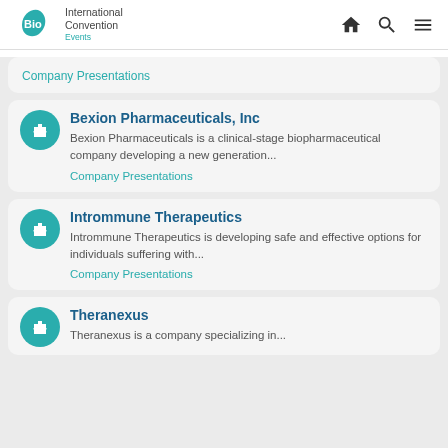BIO Events International Convention
Company Presentations
Bexion Pharmaceuticals, Inc
Bexion Pharmaceuticals is a clinical-stage biopharmaceutical company developing a new generation...
Company Presentations
Intrommune Therapeutics
Intrommune Therapeutics is developing safe and effective options for individuals suffering with...
Company Presentations
Theranexus